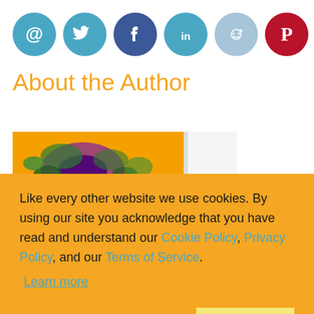[Figure (illustration): Row of social media icon circles: email (@), Twitter, Facebook, LinkedIn, Reddit, Pinterest]
About the Author
[Figure (photo): Partial view of a book cover with orange background and fractal/mandelbrot pattern in green and purple]
Like every other website we use cookies. By using our site you acknowledge that you have read and understand our Cookie Policy, Privacy Policy, and our Terms of Service.
Learn more
Ask me later
Decline
Allow cookies